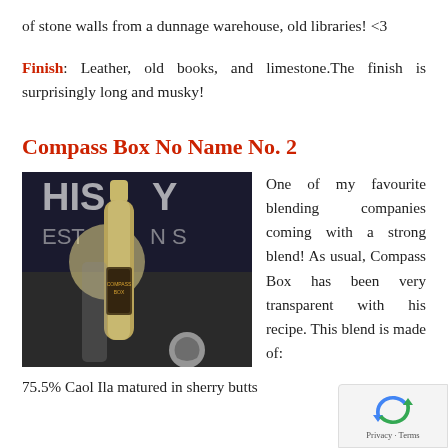of stone walls from a dunnage warehouse, old libraries! <3
Finish: Leather, old books, and limestone.The finish is surprisingly long and musky!
Compass Box No Name No. 2
[Figure (photo): A bottle of Compass Box No Name No. 2 whisky, with an ornate label, photographed in front of a whisky-related backdrop]
One of my favourite blending companies coming with a strong blend! As usual, Compass Box has been very transparent with his recipe. This blend is made of:
75.5% Caol Ila matured in sherry butts